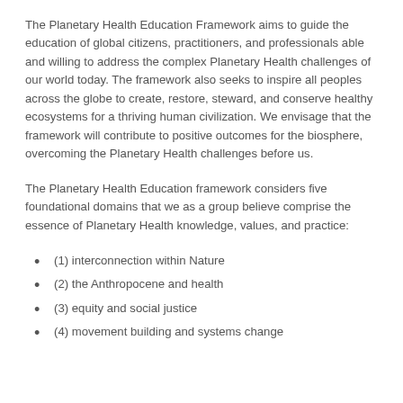The Planetary Health Education Framework aims to guide the education of global citizens, practitioners, and professionals able and willing to address the complex Planetary Health challenges of our world today. The framework also seeks to inspire all peoples across the globe to create, restore, steward, and conserve healthy ecosystems for a thriving human civilization. We envisage that the framework will contribute to positive outcomes for the biosphere, overcoming the Planetary Health challenges before us.
The Planetary Health Education framework considers five foundational domains that we as a group believe comprise the essence of Planetary Health knowledge, values, and practice:
(1) interconnection within Nature
(2) the Anthropocene and health
(3) equity and social justice
(4) movement building and systems change